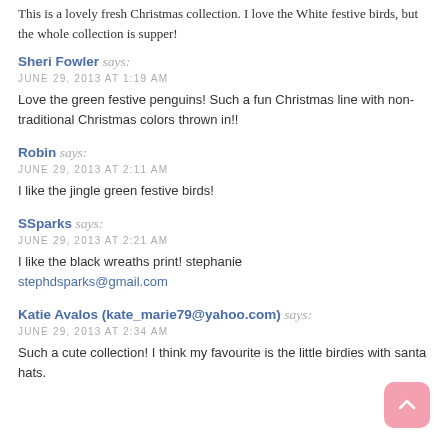This is a lovely fresh Christmas collection. I love the White festive birds, but the whole collection is supper!
Sheri Fowler says:
JUNE 29, 2013 AT 1:19 AM
Love the green festive penguins! Such a fun Christmas line with non-traditional Christmas colors thrown in!!
Robin says:
JUNE 29, 2013 AT 2:11 AM
I like the jingle green festive birds!
SSparks says:
JUNE 29, 2013 AT 2:21 AM
I like the black wreaths print! stephanie
stephdsparks@gmail.com
Katie Avalos (kate_marie79@yahoo.com) says:
JUNE 29, 2013 AT 2:34 AM
Such a cute collection! I think my favourite is the little birdies with santa hats.